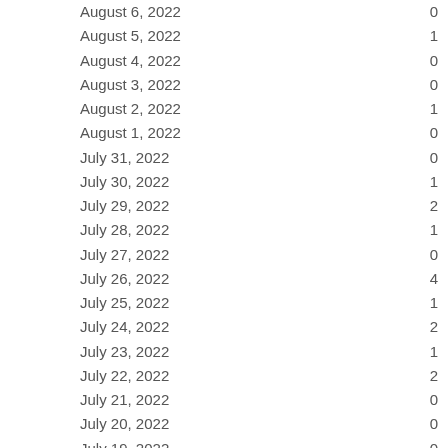| Date | Value |
| --- | --- |
| August 6, 2022 | 0 |
| August 5, 2022 | 1 |
| August 4, 2022 | 0 |
| August 3, 2022 | 0 |
| August 2, 2022 | 1 |
| August 1, 2022 | 0 |
| July 31, 2022 | 0 |
| July 30, 2022 | 1 |
| July 29, 2022 | 2 |
| July 28, 2022 | 1 |
| July 27, 2022 | 0 |
| July 26, 2022 | 4 |
| July 25, 2022 | 1 |
| July 24, 2022 | 2 |
| July 23, 2022 | 1 |
| July 22, 2022 | 2 |
| July 21, 2022 | 0 |
| July 20, 2022 | 0 |
| July 19, 2022 | 0 |
| July 18, 2022 | 0 |
| July 17, 2022 | 2 |
| July 16, 2022 | 0 |
| July 15, 2022 | 1 |
| July 14, 2022 | 1 |